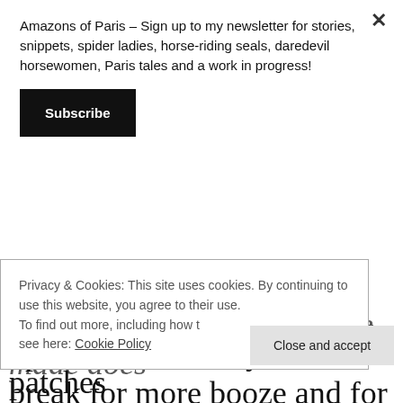Amazons of Paris – Sign up to my newsletter for stories, snippets, spider ladies, horse-riding seals, daredevil horsewomen, Paris tales and a work in progress!
Subscribe
passed and clocked out. She made does up to six runs a day, with a break for more booze and for fruitcake between each. The huntsman had put out plastic
Privacy & Cookies: This site uses cookies. By continuing to use this website, you agree to their use.
To find out more, including how to control cookies, see here: Cookie Policy
Close and accept
out, and the wind had cleared patches